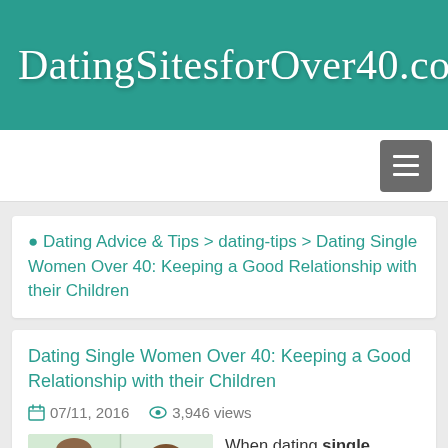DatingSitesforOver40.com
Dating Advice & Tips > dating-tips > Dating Single Women Over 40: Keeping a Good Relationship with their Children
Dating Single Women Over 40: Keeping a Good Relationship with their Children
07/11, 2016   3,946 views
[Figure (illustration): Illustration of a person in teal shirt looking down, appears to be a multi-panel instructional illustration]
When dating single women over 40,